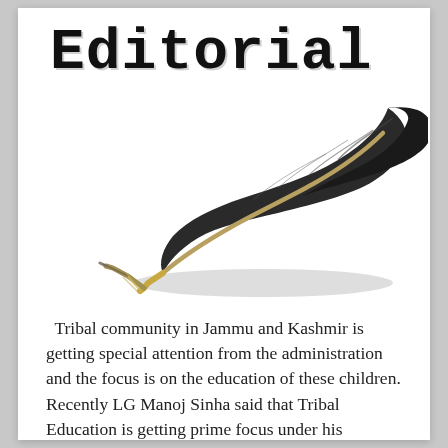Editorial
[Figure (photo): A feather quill pen with a brass nib resting diagonally on a white background, with shadow beneath.]
Tribal community in Jammu and Kashmir is getting special attention from the administration and the focus is on the education of these children. Recently LG Manoj Sinha said that Tribal Education is getting prime focus under his administration. The administration has formulated a comprehensive education plan to address specific needs of Tribals. The government […]